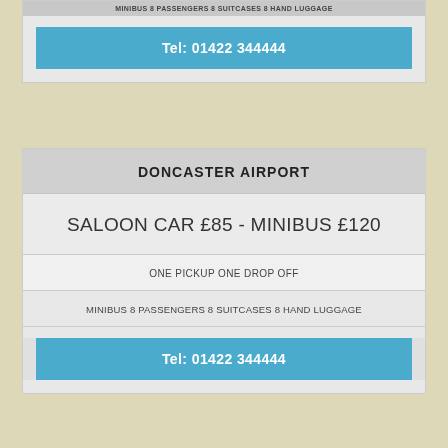MINIBUS 8 PASSENGERS 8 SUITCASES 8 HAND LUGGAGE
Tel: 01422 344444
DONCASTER AIRPORT
SALOON CAR £85 - MINIBUS £120
ONE PICKUP ONE DROP OFF
MINIBUS 8 PASSENGERS 8 SUITCASES 8 HAND LUGGAGE
Tel: 01422 344444